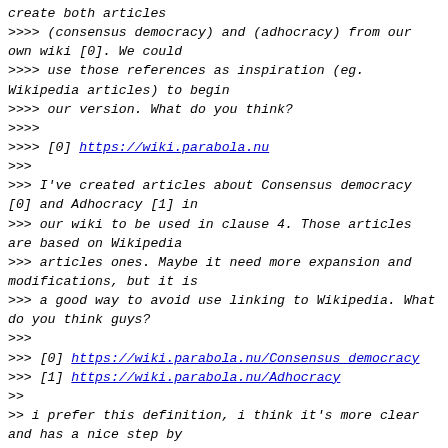create both articles
>>>> (consensus democracy) and (adhocracy) from our own wiki [0]. We could
>>>> use those references as inspiration (eg. Wikipedia articles) to begin
>>>> our version. What do you think?
>>>>
>>>> [0] https://wiki.parabola.nu
>>>
>>> I've created articles about Consensus democracy [0] and Adhocracy [1] in
>>> our wiki to be used in clause 4. Those articles are based on Wikipedia
>>> articles ones. Maybe it need more expansion and modifications, but it is
>>> a good way to avoid use linking to Wikipedia. What do you think guys?
>>>
>>> [0] https://wiki.parabola.nu/Consensus_democracy
>>> [1] https://wiki.parabola.nu/Adhocracy
>>
>> i prefer this definition, i think it's more clear and has a nice step by
>> step howto :P
>>
>> http://consensusdecisionmaking.org/
>
> +1 such as reference for Consensus democracy, however we need for
> Adhocracy meaning too. Do you have some reference for